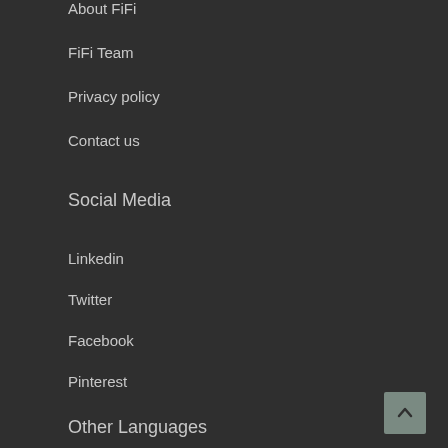About FiFi
FiFi Team
Privacy policy
Contact us
Social Media
Linkedin
Twitter
Facebook
Pinterest
Other Languages